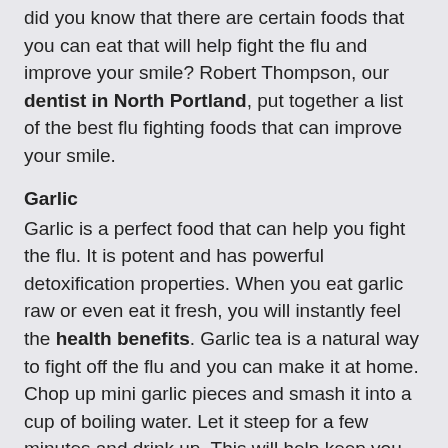did you know that there are certain foods that you can eat that will help fight the flu and improve your smile? Robert Thompson, our dentist in North Portland, put together a list of the best flu fighting foods that can improve your smile.
Garlic
Garlic is a perfect food that can help you fight the flu. It is potent and has powerful detoxification properties. When you eat garlic raw or even eat it fresh, you will instantly feel the health benefits. Garlic tea is a natural way to fight off the flu and you can make it at home. Chop up mini garlic pieces and smash it into a cup of boiling water. Let it steep for a few minutes and drink up. This will help keep you healthy and avoid the flu.
You may know that garlic can often cause bad breath, we recommend brushing your teeth regularly to prevent bacteria buildup in the mouth. Use toothpaste and mouthwash to wash away the food particles that can